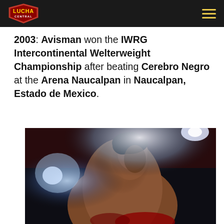Lucha Central
2003: Avisman won the IWRG Intercontinental Welterweight Championship after beating Cerebro Negro at the Arena Naucalpan in Naucalpan, Estado de Mexico.
[Figure (photo): A lucha libre wrestler photographed from a low angle under bright arena lights, shirtless, wearing red gear, dramatic lighting with flares.]